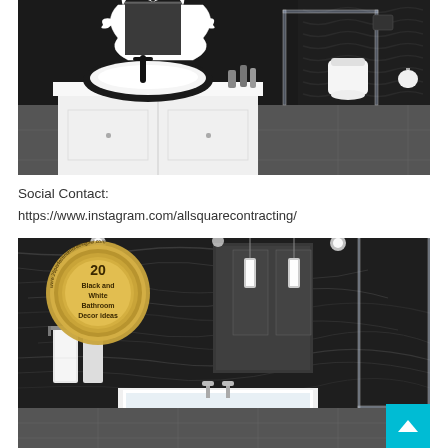[Figure (photo): Black and white modern bathroom with white rectangular vessel sink on white vanity, decorative white baroque mirror frame, black faucet, glass shower enclosure, wall-mounted white toilet, dark textured tile walls]
Social Contact:
https://www.instagram.com/allsquarecontracting/
[Figure (photo): Luxury black and white bathroom with dark marble/stone walls, large mirrors, pendant lights, glass shower enclosure, white bathtub. Overlaid with a gold badge reading '20 Black and White Bathroom Decor Ideas']